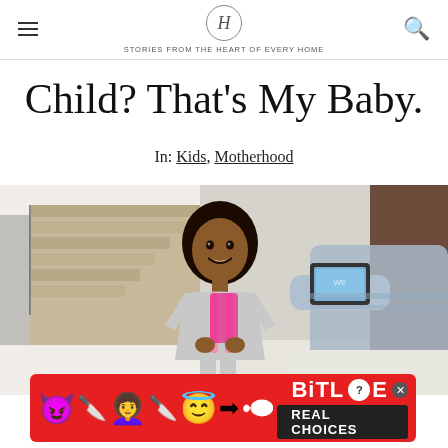H — STORIES FROM THE HEART OF EVERY HOME
Child? That's My Baby.
In: Kids, Motherhood
[Figure (photo): A smiling young girl with curly hair wearing a grey dress and pink backpack, posing for a photo being taken by a parent holding a smartphone, in a modern home entryway with stairs in the background.]
[Figure (other): Advertisement banner for BitLife game with emoji characters (devil, woman, angel, sperm) and text 'BitLife REAL CHOICES' on a red background.]